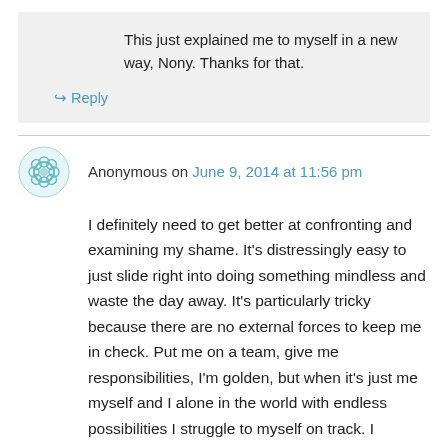This just explained me to myself in a new way, Nony. Thanks for that.
↳ Reply
Anonymous on June 9, 2014 at 11:56 pm
I definitely need to get better at confronting and examining my shame. It's distressingly easy to just slide right into doing something mindless and waste the day away. It's particularly tricky because there are no external forces to keep me in check. Put me on a team, give me responsibilities, I'm golden, but when it's just me myself and I alone in the world with endless possibilities I struggle to myself on track. I